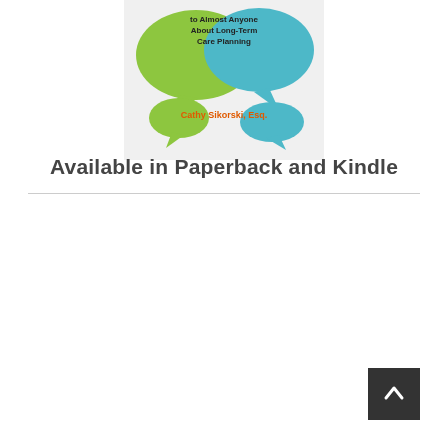[Figure (illustration): Book cover illustration showing speech bubbles in green and teal colors with text about long-term care planning by Cathy Sikorski, Esq.]
Available in Paperback and Kindle
[Figure (other): Dark square scroll-to-top button with upward chevron arrow icon in bottom right corner]